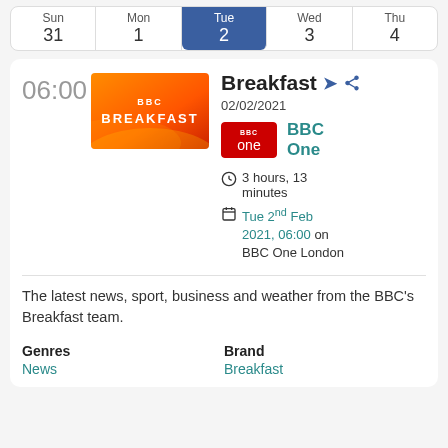| Sun | Mon | Tue | Wed | Thu |
| --- | --- | --- | --- | --- |
| 31 | 1 | 2 | 3 | 4 |
06:00
[Figure (logo): BBC Breakfast logo - orange gradient background with BBC BREAKFAST text in white]
Breakfast
02/02/2021
[Figure (logo): BBC One red badge logo]
BBC One
3 hours, 13 minutes
Tue 2nd Feb 2021, 06:00 on BBC One London
The latest news, sport, business and weather from the BBC's Breakfast team.
Genres
News
Brand
Breakfast